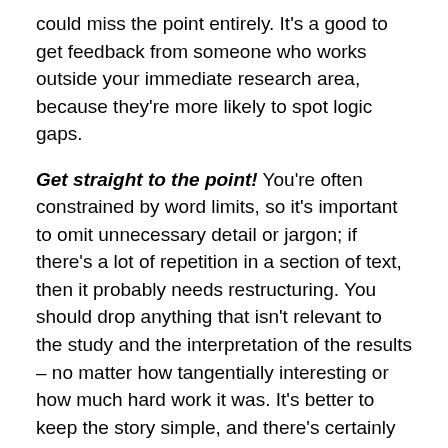could miss the point entirely. It's a good to get feedback from someone who works outside your immediate research area, because they're more likely to spot logic gaps.
Get straight to the point! You're often constrained by word limits, so it's important to omit unnecessary detail or jargon; if there's a lot of repetition in a section of text, then it probably needs restructuring. You should drop anything that isn't relevant to the study and the interpretation of the results – no matter how tangentially interesting or how much hard work it was. It's better to keep the story simple, and there's certainly no need to 'flesh out' a manuscript that is otherwise short and to the point.